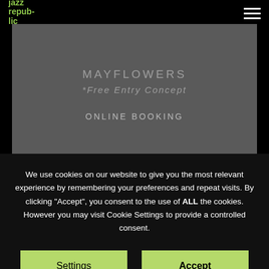jazz repub-lic
ONLINE BOOKING
MAYFLOWERS
*Free Entry Concept
ONLINE BOOKING
SYMPHONY OF EBONY
*Free Entry Concept
We use cookies on our website to give you the most relevant experience by remembering your preferences and repeat visits. By clicking "Accept", you consent to the use of ALL the cookies. However you may visit Cookie Settings to provide a controlled consent.
Settings
Accept
You can refuse consent here.